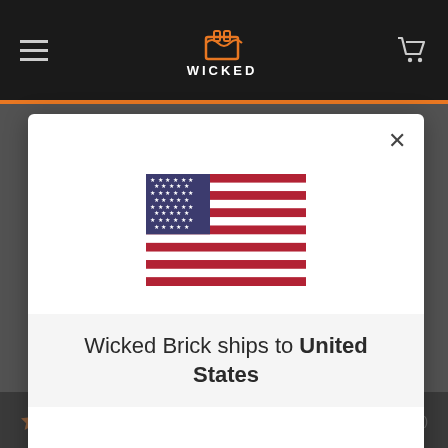[Figure (screenshot): Website navigation bar with hamburger menu, Wicked Brick logo, and shopping cart icon on dark background]
[Figure (illustration): United States flag rendered in SVG]
Wicked Brick ships to United States